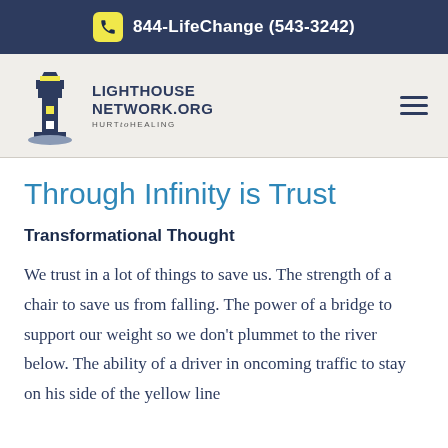844-LifeChange (543-3242)
[Figure (logo): Lighthouse Network logo with lighthouse illustration and text LIGHTHOUSENETWORK.ORG HURT to HEALING]
Through Infinity is Trust
Transformational Thought
We trust in a lot of things to save us. The strength of a chair to save us from falling. The power of a bridge to support our weight so we don't plummet to the river below. The ability of a driver in oncoming traffic to stay on his side of the yellow line